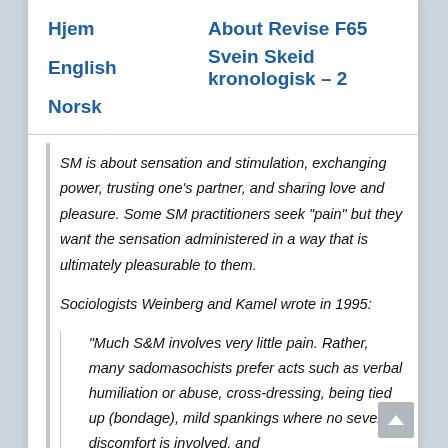Hjem    About Revise F65
English    Svein Skeid kronologisk – 2
Norsk
SM is about sensation and stimulation, exchanging power, trusting one’s partner, and sharing love and pleasure. Some SM practitioners seek “pain” but they want the sensation administered in a way that is ultimately pleasurable to them.
Sociologists Weinberg and Kamel wrote in 1995:
“Much S&M involves very little pain. Rather, many sadomasochists prefer acts such as verbal humiliation or abuse, cross-dressing, being tied up (bondage), mild spankings where no severe discomfort is involved, and